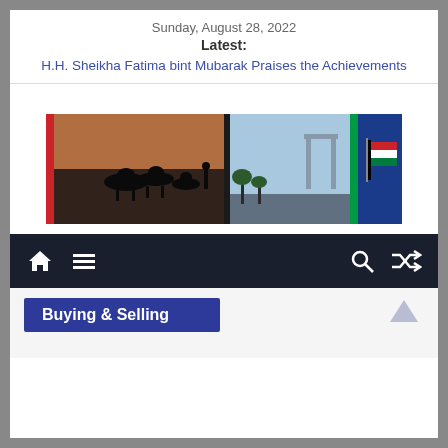Sunday, August 28, 2022
Latest:
H.H. Sheikha Fatima bint Mubarak Praises the Achievements
[Figure (photo): Composite banner of UAE imagery: camel silhouettes at sunset, the Dubai Frame monument, UAE flag against blue sky]
[Figure (infographic): Navigation bar with home icon, hamburger menu, search icon, and shuffle icon on dark background]
Buying & Selling